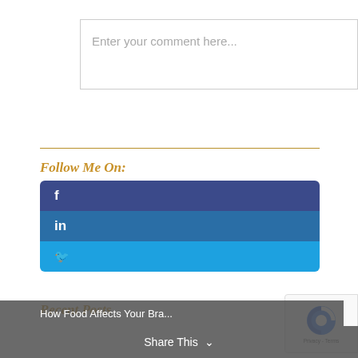Enter your comment here...
Follow Me On:
[Figure (infographic): Social media follow buttons: Facebook (f), LinkedIn (in), Twitter (bird icon) stacked vertically in blue boxes]
Recent Posts
How Food Affects Your Bra...
Share This